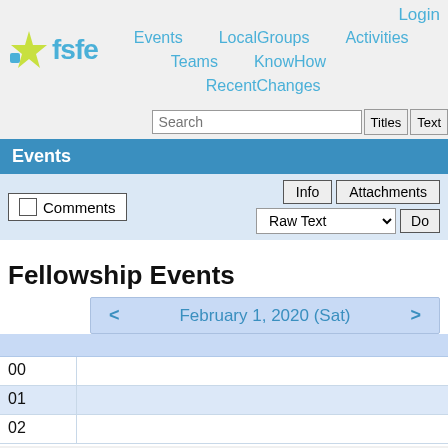Login
[Figure (logo): FSFE logo with star icon and text 'fsfe']
Events   LocalGroups   Activities   Teams   KnowHow   RecentChanges
Search  Titles  Text
Events
Comments  Info  Attachments  Raw Text  Do
Fellowship Events
< February 1, 2020 (Sat) >
| Hour | Content |
| --- | --- |
| 00 |  |
| 01 |  |
| 02 |  |